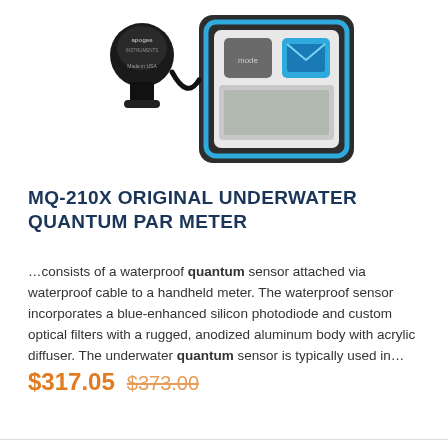[Figure (photo): Product photo of Apogee MQ-210X underwater quantum PAR meter showing a black sensor with cable connected to a dark grey handheld meter device with blue accents and mode button]
MQ-210X ORIGINAL UNDERWATER QUANTUM PAR METER
…consists of a waterproof quantum sensor attached via waterproof cable to a handheld meter. The waterproof sensor incorporates a blue-enhanced silicon photodiode and custom optical filters with a rugged, anodized aluminum body with acrylic diffuser. The underwater quantum sensor is typically used in…
$317.05  $373.00
ADD TO CART